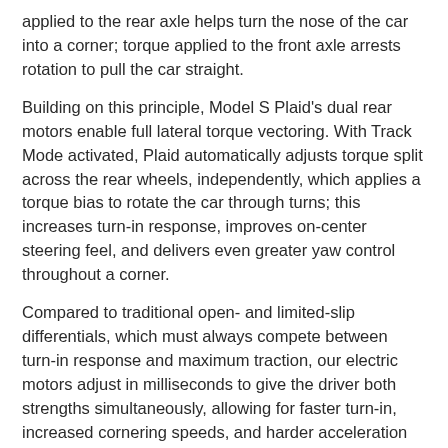applied to the rear axle helps turn the nose of the car into a corner; torque applied to the front axle arrests rotation to pull the car straight.
Building on this principle, Model S Plaid's dual rear motors enable full lateral torque vectoring. With Track Mode activated, Plaid automatically adjusts torque split across the rear wheels, independently, which applies a torque bias to rotate the car through turns; this increases turn-in response, improves on-center steering feel, and delivers even greater yaw control throughout a corner.
Compared to traditional open- and limited-slip differentials, which must always compete between turn-in response and maximum traction, our electric motors adjust in milliseconds to give the driver both strengths simultaneously, allowing for faster turn-in, increased cornering speeds, and harder acceleration on corner exit.
Adjustable Vehicle Dynamics
During normal road driving, our stability control